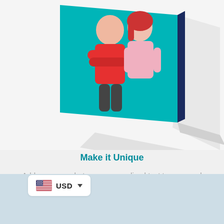[Figure (illustration): A greeting card shown in 3D perspective. The front face shows a teal/cyan background with two illustrated figures — a person in a red top with arms crossed and a person in pink. The card has a dark navy spine/edge visible on the right, and a white open back page visible. A light gray shadow is cast below the card on a light gray background.]
Make it Unique
Add your own photos or personalized text to your card
.
[Figure (other): USD currency selector widget at bottom left: white rounded rectangle with US flag icon and 'USD' text with dropdown arrow.]